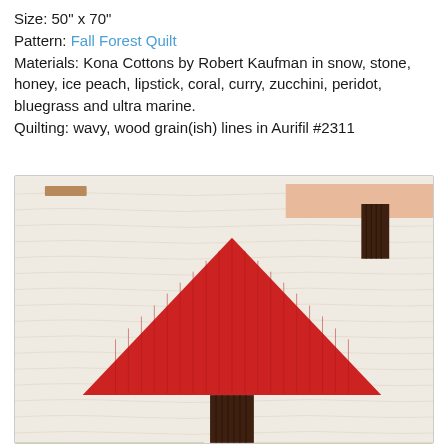Size: 50" x 70"
Pattern: Fall Forest Quilt
Materials: Kona Cottons by Robert Kaufman in snow, stone, honey, ice peach, lipstick, coral, curry, zucchini, peridot, bluegrass and ultra marine.
Quilting: wavy, wood grain(ish) lines in Aurifil #2311
[Figure (photo): Close-up photo of a Fall Forest Quilt showing quilted fabric background in off-white/cream with wood grain quilting lines, featuring a large red triangle tree with dark brown trunk in the center-left, a peach/salmon colored house roof with dark brown chimney in the upper right, a small tan/yellow horizontal stripe in the upper left, and two partial triangle trees at the bottom — one olive green and one golden yellow.]